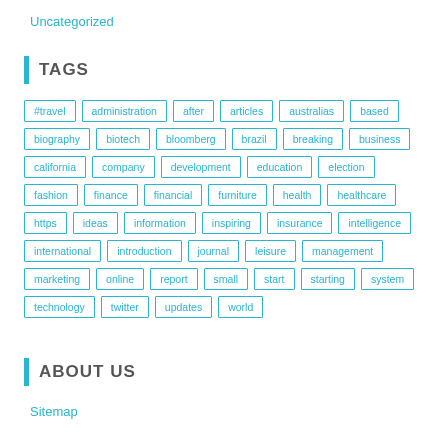Uncategorized
TAGS
#travel
administration
after
articles
australias
based
biography
biotech
bloomberg
brazil
breaking
business
california
company
development
education
election
fashion
finance
financial
furniture
health
healthcare
https
ideas
information
inspiring
insurance
intelligence
international
introduction
journal
leisure
management
marketing
online
report
small
start
starting
system
technology
twitter
updates
world
ABOUT US
Sitemap